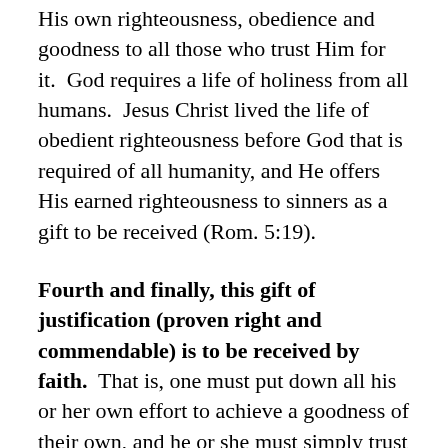His own righteousness, obedience and goodness to all those who trust Him for it.  God requires a life of holiness from all humans.  Jesus Christ lived the life of obedient righteousness before God that is required of all humanity, and He offers His earned righteousness to sinners as a gift to be received (Rom. 5:19).
Fourth and finally, this gift of justification (proven right and commendable) is to be received by faith.  That is, one must put down all his or her own effort to achieve a goodness of their own, and he or she must simply trust in the effort of another – namely in the person and work of Jesus Christ.  When we visualize this transaction as a dirty, clothed sinner